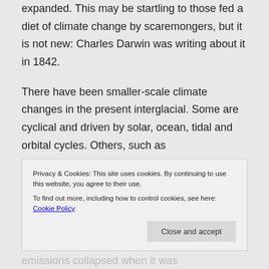expanded. This may be startling to those fed a diet of climate change by scaremongers, but it is not new: Charles Darwin was writing about it in 1842.
There have been smaller-scale climate changes in the present interglacial. Some are cyclical and driven by solar, ocean, tidal and orbital cycles. Others, such as volcanically-driven changes, are
Privacy & Cookies: This site uses cookies. By continuing to use this website, you agree to their use.
To find out more, including how to control cookies, see here: Cookie Policy
Close and accept
emissions collapsed when it was